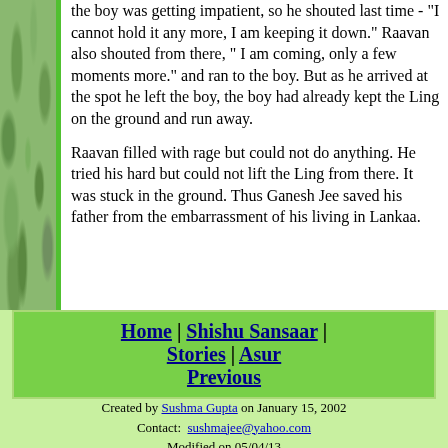the boy was getting impatient, so he shouted last time - "I cannot hold it any more, I am keeping it down." Raavan also shouted from there, " I am coming, only a few moments more." and ran to the boy. But as he arrived at the spot he left the boy, the boy had already kept the Ling on the ground and run away.

Raavan filled with rage but could not do anything. He tried his hard but could not lift the Ling from there. It was stuck in the ground. Thus Ganesh Jee saved his father from the embarrassment of his living in Lankaa.
Home | Shishu Sansaar | Stories | Asur Previous
Created by Sushma Gupta on January 15, 2002
Contact: sushmajee@yahoo.com
Modified on 05/04/13